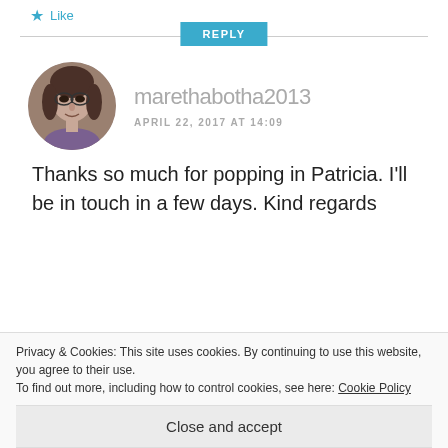★ Like
REPLY
[Figure (photo): Circular avatar photo of a woman with glasses and dark hair]
marethabotha2013
APRIL 22, 2017 AT 14:09
Thanks so much for popping in Patricia. I'll be in touch in a few days. Kind regards
★ Like
Privacy & Cookies: This site uses cookies. By continuing to use this website, you agree to their use.
To find out more, including how to control cookies, see here: Cookie Policy
Close and accept